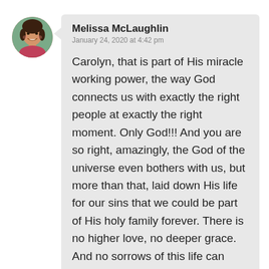[Figure (photo): Circular avatar photo of a woman smiling, with dark hair]
Melissa McLaughlin
January 24, 2020 at 4:42 pm
Carolyn, that is part of His miracle working power, the way God connects us with exactly the right people at exactly the right moment. Only God!!! And you are so right, amazingly, the God of the universe even bothers with us, but more than that, laid down His life for our sins that we could be part of His holy family forever. There is no higher love, no deeper grace. And no sorrows of this life can touch it. God bless you!